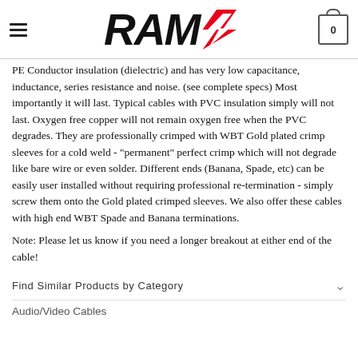RAM logo header with navigation
PE Conductor insulation (dielectric) and has very low capacitance, inductance, series resistance and noise. (see complete specs) Most importantly it will last. Typical cables with PVC insulation simply will not last. Oxygen free copper will not remain oxygen free when the PVC degrades. They are professionally crimped with WBT Gold plated crimp sleeves for a cold weld - "permanent" perfect crimp which will not degrade like bare wire or even solder. Different ends (Banana, Spade, etc) can be easily user installed without requiring professional re-termination - simply screw them onto the Gold plated crimped sleeves. We also offer these cables with high end WBT Spade and Banana terminations.
Note: Please let us know if you need a longer breakout at either end of the cable!
Find Similar Products by Category
Audio/Video Cables